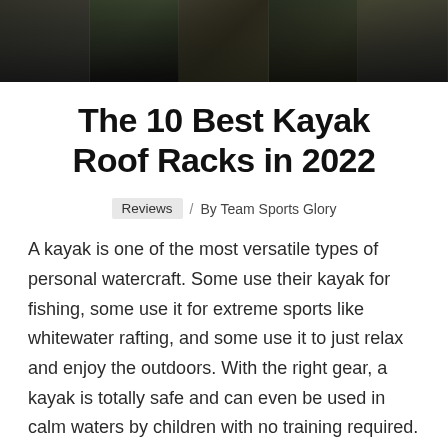[Figure (photo): Dark overhead photo of kayak roof rack rails, showing parallel metal rails with dark tones]
The 10 Best Kayak Roof Racks in 2022
Reviews / By Team Sports Glory
A kayak is one of the most versatile types of personal watercraft. Some use their kayak for fishing, some use it for extreme sports like whitewater rafting, and some use it to just relax and enjoy the outdoors. With the right gear, a kayak is totally safe and can even be used in calm waters by children with no training required.
All of these factors make kayaks ideal for anyone who is ready to explore the outdoors. However, any boat is useless if you can't get it to the water.